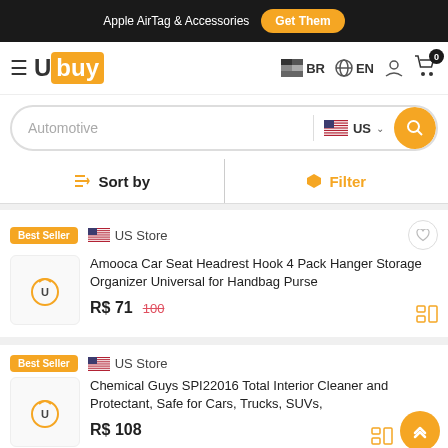Apple AirTag & Accessories  Get Them
[Figure (logo): Ubuy logo with hamburger menu, BR region, EN language, user icon, and cart with 0 items]
Automotive  US  (search bar)
Sort by  |  Filter
Best Seller  US Store  Amooca Car Seat Headrest Hook 4 Pack Hanger Storage Organizer Universal for Handbag Purse  R$ 71  100
Best Seller  US Store  Chemical Guys SPI22016 Total Interior Cleaner and Protectant, Safe for Cars, Trucks, SUVs,  R$ 108